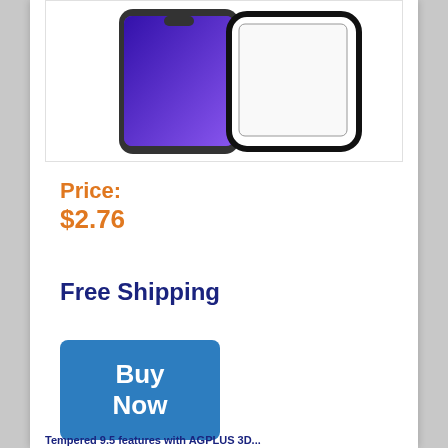[Figure (photo): Product image showing a smartphone with purple wallpaper next to a tempered glass screen protector]
Price:
$2.76
Free Shipping
Buy Now
Tempered 9.5 features with AGPLUS 3D...